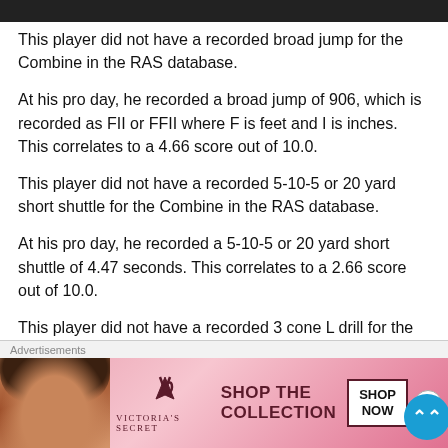This player did not have a recorded broad jump for the Combine in the RAS database.
At his pro day, he recorded a broad jump of 906, which is recorded as FII or FFII where F is feet and I is inches. This correlates to a 4.66 score out of 10.0.
This player did not have a recorded 5-10-5 or 20 yard short shuttle for the Combine in the RAS database.
At his pro day, he recorded a 5-10-5 or 20 yard short shuttle of 4.47 seconds. This correlates to a 2.66 score out of 10.0.
This player did not have a recorded 3 cone L drill for the
[Figure (other): Victoria's Secret advertisement banner with model photo, VS logo, 'SHOP THE COLLECTION' text, and 'SHOP NOW' button]